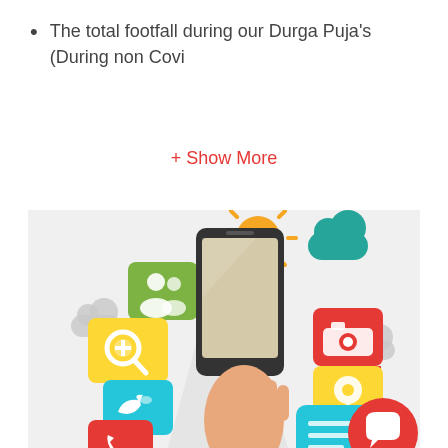The total footfall during our Durga Puja's (During non Covi
+ Show More
[Figure (illustration): Illustration of a hand holding a smartphone surrounded by colorful speech bubble icons representing social media and app features: contacts/people (green), search/zoom (yellow), Twitter bird (teal), phone (red), camera (red), location pin (yellow), chat/message (teal), chat bubble (red circle), cloud weather icons (teal and white), and a sun (yellow/orange).]